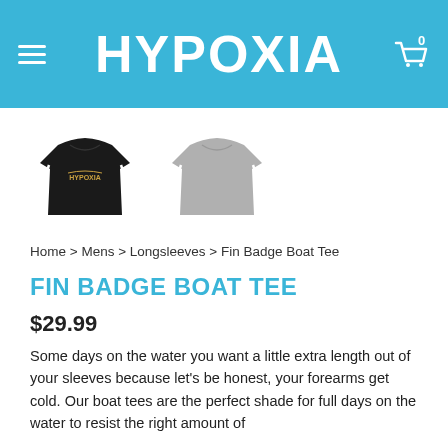HYPOXIA
[Figure (photo): Two long-sleeve boat tee shirts: one black on the left, one grey on the right, shown as product thumbnails.]
Home > Mens > Longsleeves > Fin Badge Boat Tee
FIN BADGE BOAT TEE
$29.99
Some days on the water you want a little extra length out of your sleeves because let's be honest, your forearms get cold. Our boat tees are the perfect shade for full days on the water to resist the right amount of